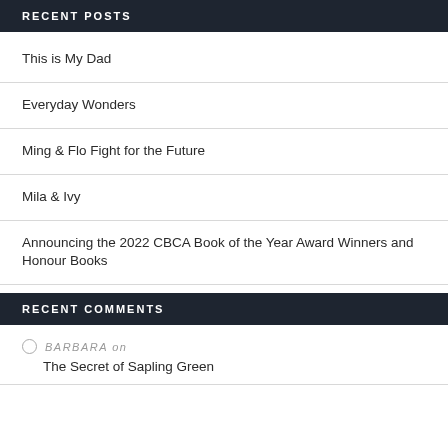RECENT POSTS
This is My Dad
Everyday Wonders
Ming & Flo Fight for the Future
Mila & Ivy
Announcing the 2022 CBCA Book of the Year Award Winners and Honour Books
RECENT COMMENTS
BARBARA on The Secret of Sapling Green